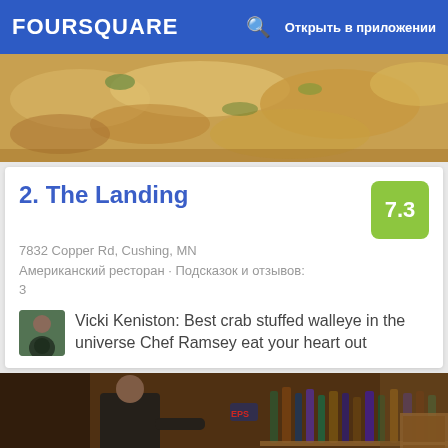FOURSQUARE — Открыть в приложении
[Figure (photo): Close-up photo of food dish, crab stuffed walleye, golden/brown tones]
2. The Landing
7.3
7832 Copper Rd, Cushing, MN
Американский ресторан · Подсказок и отзывов: 3
Vicki Keniston: Best crab stuffed walleye in the universe Chef Ramsey eat your heart out
[Figure (photo): Interior photo of a bar with bottles, a bartender in black shirt, wooden countertop, warm lighting]